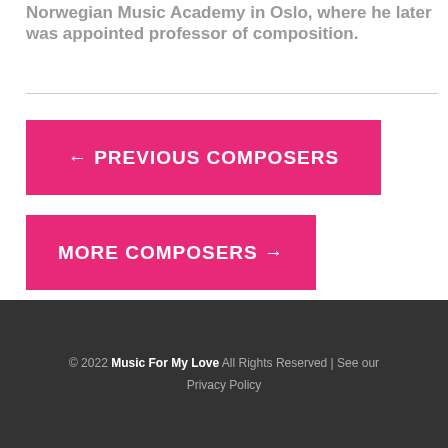Norwegian Music Academy in Oslo, where he later was appointed professor of composition.
← PREVIOUS COMPOSERS
MORE COMPOSERS →
© 2022 Music For My Love All Rights Reserved | See our Privacy Policy